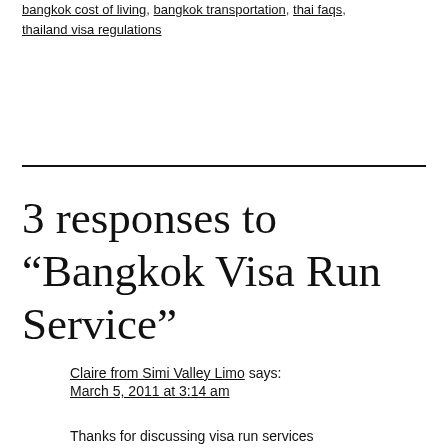bangkok cost of living, bangkok transportation, thai faqs, thailand visa regulations
3 responses to “Bangkok Visa Run Service”
Claire from Simi Valley Limo says:
March 5, 2011 at 3:14 am
Thanks for discussing visa run services